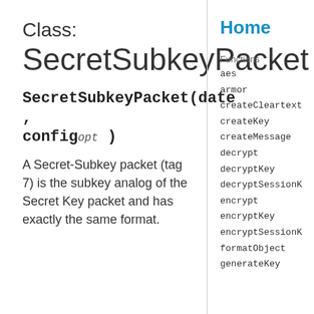Class: SecretSubkeyPacket
SecretSubkeyPacket(date, config opt )
A Secret-Subkey packet (tag 7) is the subkey analog of the Secret Key packet and has exactly the same format.
Home
Functions
aes
armor
createCleartext
createKey
createMessage
decrypt
decryptKey
decryptSessionK
encrypt
encryptKey
encryptSessionK
formatObject
generateKey